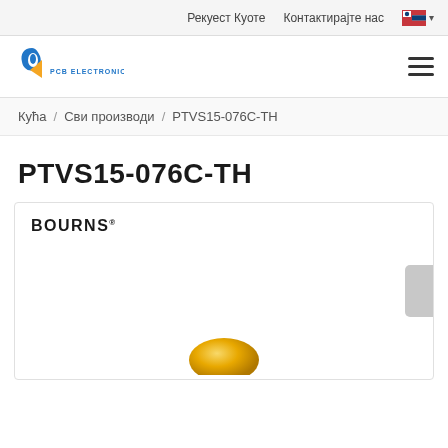Рекуест Куоте   Контактирајте нас
[Figure (logo): PCB Electronics logo with stylized blue and orange P letter mark and text PCB ELECTRONICS below]
Кућа / Сви производи / PTVS15-076C-TH
PTVS15-076C-TH
[Figure (logo): Bourns logo in bold black text with registered trademark superscript, inside a product card with a partial view of a gold/orange electronic component at the bottom center]